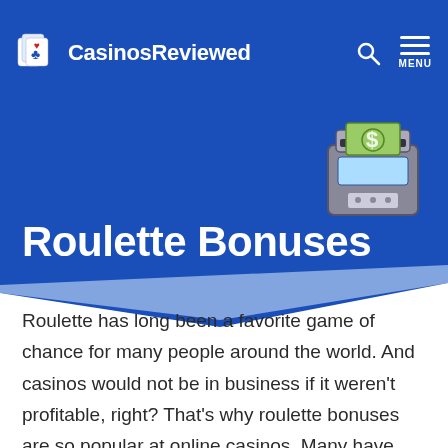CasinosReviewed
Roulette Bonuses
[Figure (illustration): ATM machine icon with a dollar bill being dispensed, green and grey colored illustration]
Roulette has long been a favorite game of chance for many people around the world. And casinos would not be in business if it weren't profitable, right? That's why roulette bonuses are so popular at online casinos. Many have taken to using them as an incentive to get you into their casino and playing there exclusively instead of trying other options out on the internet or down at your local land-based establishment.